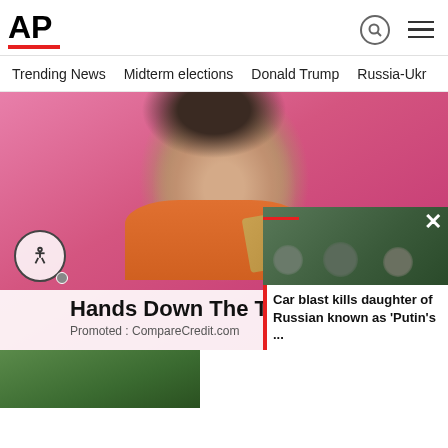AP
Trending News
Midterm elections
Donald Trump
Russia-Ukr
[Figure (photo): Woman with dark hair and bangs holding a card in front of a pink background - main AP News page hero image]
Hands Down The Top Credit C
Promoted : CompareCredit.com
[Figure (photo): Soldiers/people crouching near a road - associated with Car blast story]
Car blast kills daughter of Russian known as 'Putin's ...